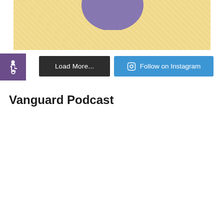[Figure (illustration): Partial view of a circular logo/graphic on a yellow textured banner background at the top of the page]
[Figure (illustration): Purple square button with white accessibility (wheelchair) icon]
Load More...
Follow on Instagram
Vanguard Podcast